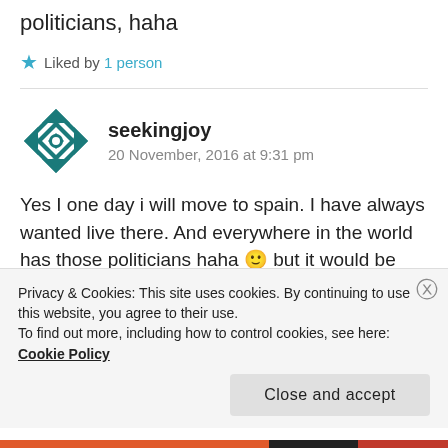politicians, haha
★ Liked by 1 person
seekingjoy
20 November, 2016 at 9:31 pm
Yes I one day i will move to spain. I have always wanted live there. And everywhere in the world has those politicians haha 🙂 but it would be nice when I do move there. I just want to live somewhere nice and where I can enjoy and
Privacy & Cookies: This site uses cookies. By continuing to use this website, you agree to their use.
To find out more, including how to control cookies, see here: Cookie Policy
Close and accept